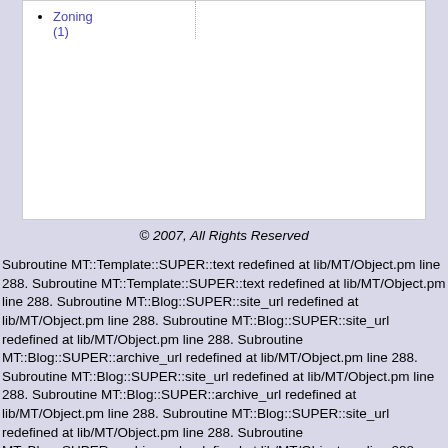Zoning (1)
© 2007, All Rights Reserved
Subroutine MT::Template::SUPER::text redefined at lib/MT/Object.pm line 288. Subroutine MT::Template::SUPER::text redefined at lib/MT/Object.pm line 288. Subroutine MT::Blog::SUPER::site_url redefined at lib/MT/Object.pm line 288. Subroutine MT::Blog::SUPER::site_url redefined at lib/MT/Object.pm line 288. Subroutine MT::Blog::SUPER::archive_url redefined at lib/MT/Object.pm line 288. Subroutine MT::Blog::SUPER::site_url redefined at lib/MT/Object.pm line 288. Subroutine MT::Blog::SUPER::archive_url redefined at lib/MT/Object.pm line 288. Subroutine MT::Blog::SUPER::site_url redefined at lib/MT/Object.pm line 288. Subroutine MT::Blog::SUPER::archive_url redefined at lib/MT/Object.pm line 288. Subroutine MT::Blog::SUPER::site_url redefined at lib/MT/Object.pm line 288. Subroutine MT::Blog::SUPER::archive_url redefined at lib/MT/Object.pm line 288. Subroutine MT::Blog::SUPER::site_url redefined at lib/MT/Object.pm line